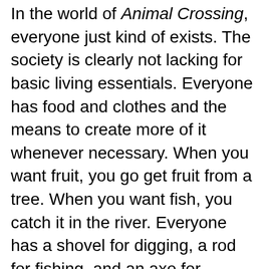In the world of Animal Crossing, everyone just kind of exists. The society is clearly not lacking for basic living essentials. Everyone has food and clothes and the means to create more of it whenever necessary. When you want fruit, you go get fruit from a tree. When you want fish, you catch it in the river. Everyone has a shovel for digging, a rod for fishing, and an axe for chopping trees. The world's bounty is at the characters' fingertips, and they realize that for a community to function, they must all strive together for the communal good. Animal Crossing offers more than just simple video game escapism; it's a blueprint for a functional socialist utopia.
Most townsfolk spend their days just like the main character does: hanging out, tending to their